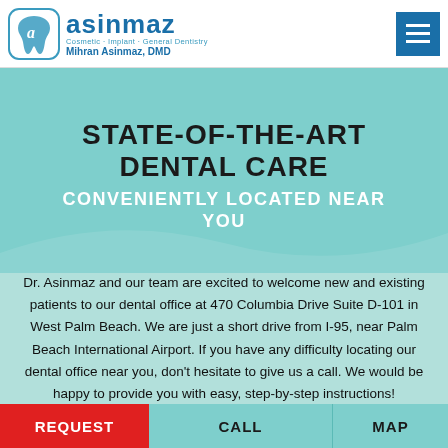asinmaz — Cosmetic · Implant · General Dentistry — Mihran Asinmaz, DMD
STATE-OF-THE-ART DENTAL CARE
CONVENIENTLY LOCATED NEAR YOU
Dr. Asinmaz and our team are excited to welcome new and existing patients to our dental office at 470 Columbia Drive Suite D-101 in West Palm Beach. We are just a short drive from I-95, near Palm Beach International Airport. If you have any difficulty locating our dental office near you, don't hesitate to give us a call. We would be happy to provide you with easy, step-by-step instructions!
REQUEST | CALL | MAP